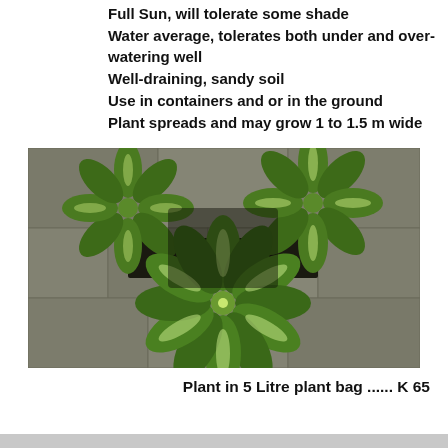Full Sun, will tolerate some shade
Water average, tolerates both under and over-watering well
Well-draining, sandy soil
Use in containers and or in the ground
Plant spreads and may grow 1 to 1.5 m wide
[Figure (photo): Two green star-shaped succulent plants photographed against a rocky/stone background. The leaves are broad, glossy green with pale edges, arranged in a radial star pattern.]
Plant in 5 Litre plant bag ...... K 65